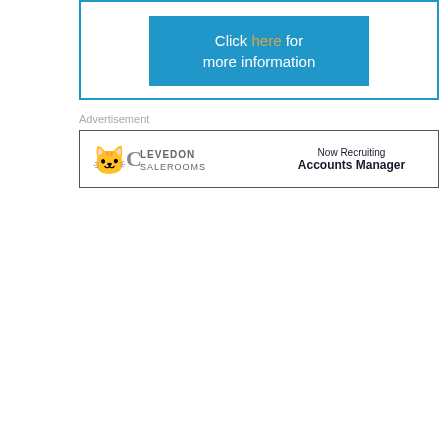[Figure (other): Blue-bordered box containing a blue button with text 'Click here for more information']
Advertisement
[Figure (other): Advertisement banner for Clevedon Salerooms: 'Now Recruiting Accounts Manager']